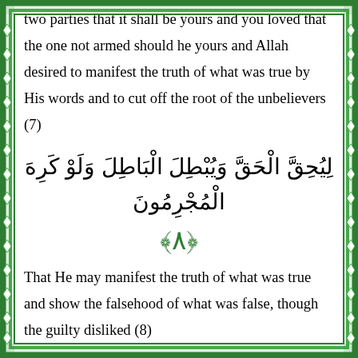two parties that it shall be yours and you loved that the one not armed should he yours and Allah desired to manifest the truth of what was true by His words and to cut off the root of the unbelievers (7)
لِيُحِقَّ الْحَقَّ وَيُبْطِلَ الْبَاطِلَ وَلَوْ كَرِهَ الْمُجْرِمُونَ
﴿٨﴾
That He may manifest the truth of what was true and show the falsehood of what was false, though the guilty disliked (8)